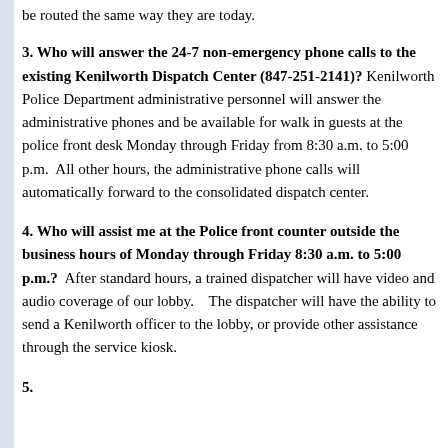be routed the same way they are today.
3. Who will answer the 24-7 non-emergency phone calls to the existing Kenilworth Dispatch Center (847-251-2141)? Kenilworth Police Department administrative personnel will answer the administrative phones and be available for walk in guests at the police front desk Monday through Friday from 8:30 a.m. to 5:00 p.m.  All other hours, the administrative phone calls will automatically forward to the consolidated dispatch center.
4. Who will assist me at the Police front counter outside the business hours of Monday through Friday 8:30 a.m. to 5:00 p.m.?  After standard hours, a trained dispatcher will have video and audio coverage of our lobby.    The dispatcher will have the ability to send a Kenilworth officer to the lobby, or provide other assistance through the service kiosk.
5. (partial — cut off at bottom of page)